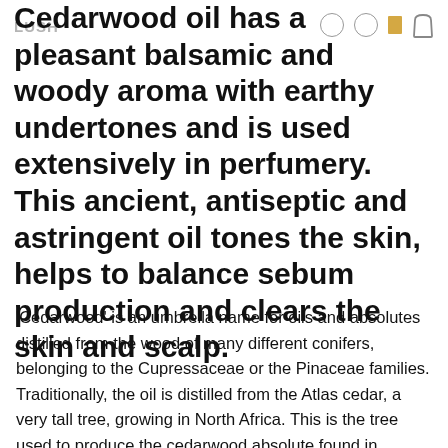LUSH
Cedarwood oil has a pleasant balsamic and woody aroma with earthy undertones and is used extensively in perfumery. This ancient, antiseptic and astringent oil tones the skin, helps to balance sebum production and clears the skin and scalp.
'Cedarwood' is an umbrella name for oils and absolutes distilled from the wood of many different conifers, belonging to the Cupressaceae or the Pinaceae families. Traditionally, the oil is distilled from the Atlas cedar, a very tall tree, growing in North Africa. This is the tree used to produce the cedarwood absolute found in